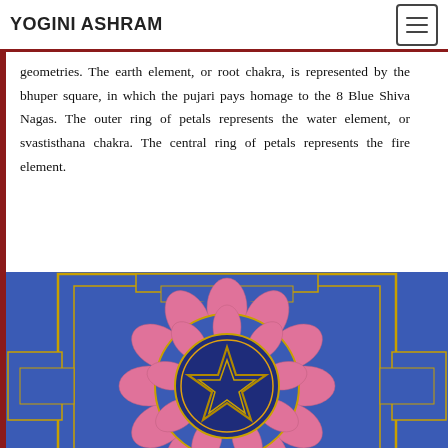YOGINI ASHRAM
geometries. The earth element, or root chakra, is represented by the bhuper square, in which the pujari pays homage to the 8 Blue Shiva Nagas. The outer ring of petals represents the water element, or svastisthana chakra. The central ring of petals represents the fire element.
[Figure (illustration): A colorful yantra (sacred geometric diagram) painted on blue background. Features a square bhuper with gateway openings at each cardinal direction, concentric rings of pink lotus petals, a circular ring with gold border, and a central dark circle containing a gold pentagram/star symbol. The overall style is traditional Hindu/tantric sacred art.]